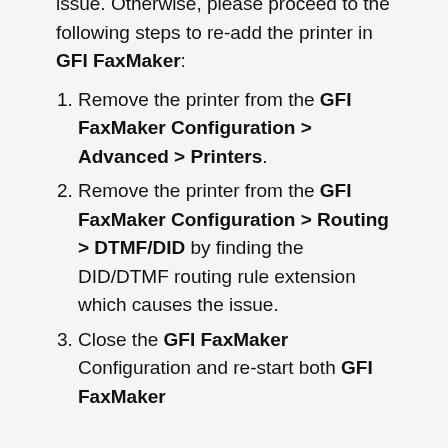issue. Otherwise, please proceed to the following steps to re-add the printer in GFI FaxMaker:
Remove the printer from the GFI FaxMaker Configuration > Advanced > Printers.
Remove the printer from the GFI FaxMaker Configuration > Routing > DTMF/DID by finding the DID/DTMF routing rule extension which causes the issue.
Close the GFI FaxMaker Configuration and re-start both GFI FaxMaker